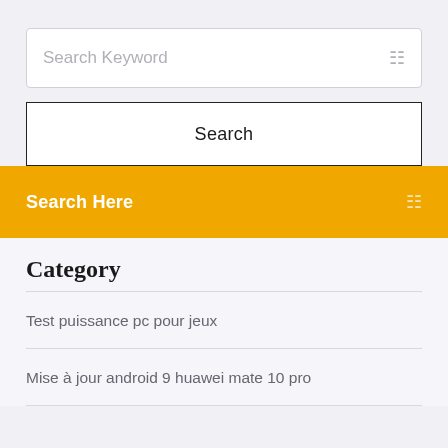Search Keyword
Search
Search Here
Category
Test puissance pc pour jeux
Mise à jour android 9 huawei mate 10 pro